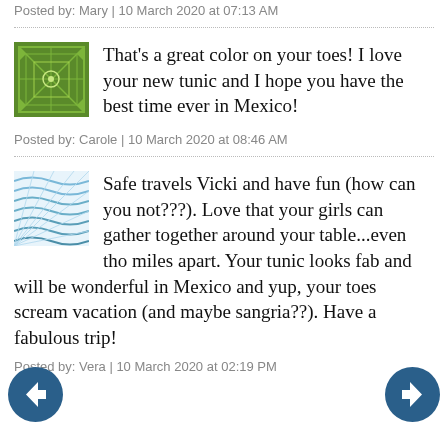Posted by: Mary | 10 March 2020 at 07:13 AM
That's a great color on your toes! I love your new tunic and I hope you have the best time ever in Mexico!
Posted by: Carole | 10 March 2020 at 08:46 AM
Safe travels Vicki and have fun (how can you not???). Love that your girls can gather together around your table...even tho miles apart. Your tunic looks fab and will be wonderful in Mexico and yup, your toes scream vacation (and maybe sangria??). Have a fabulous trip!
Posted by: Vera | 10 March 2020 at 02:19 PM